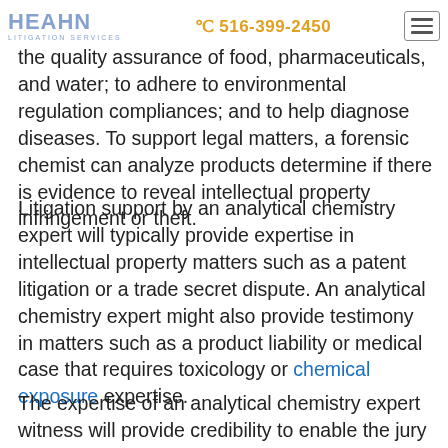the quality assurance of food, pharmaceuticals, and water; to adhere to environmental regulation compliances; and to help diagnose diseases. To support legal matters, a forensic chemist can analyze products determine if there is evidence to reveal intellectual property infringement or theft.
Litigation support by an analytical chemistry expert will typically provide expertise in intellectual property matters such as a patent litigation or a trade secret dispute. An analytical chemistry expert might also provide testimony in matters such as a product liability or medical case that requires toxicology or chemical exposure expertise.
The expertise of an analytical chemistry expert witness will provide credibility to enable the jury to consider